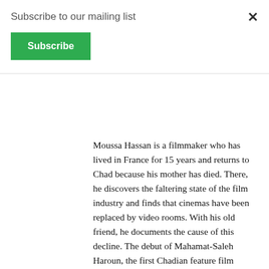Subscribe to our mailing list
×
Subscribe
Moussa Hassan is a filmmaker who has lived in France for 15 years and returns to Chad because his mother has died. There, he discovers the faltering state of the film industry and finds that cinemas have been replaced by video rooms. With his old friend, he documents the cause of this decline. The debut of Mahamat-Saleh Haroun, the first Chadian feature film director.
Pickpocket
Jia Zhangke's debut takes us back to 1997 in Fengyang. Xiao Wu is a pickpocket. Having never managed to get away from the streets like his friends, he finds himself alone with his troubles, not getting rich by old-fashioned...